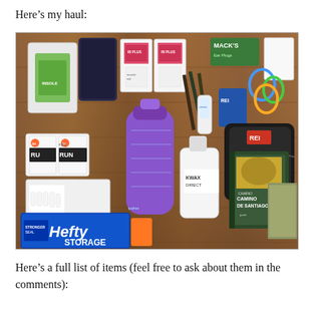Here’s my haul:
[Figure (photo): A flat-lay photograph on a wooden floor showing various hiking and travel items including: injini toe socks, a purple Nalgene water bottle, Mack's ear plugs, two boxes of medical/muscle rub products, a green foam pad/insole in packaging, a black bag, a book about the Camino de Santiago, a blue REI carabiner keychain, colorful carabiners, a tube of cream, a spray bottle labeled KWAX DIRECT, Hefty Storage bags, white gloves, pencils, and various other travel gear items.]
Here’s a full list of items (feel free to ask about them in the comments):